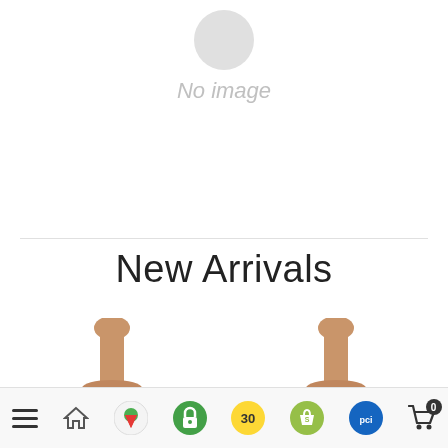[Figure (illustration): Gray circular placeholder with 'No image' text below it]
New Arrivals
[Figure (photo): Two mannequin neck/torso product thumbnails partially visible at the bottom of the page]
Navigation bar with hamburger menu, home icon, map pin icon, green lock icon, timer icon, Shopify bag icon, PCI icon, and shopping cart with badge 0